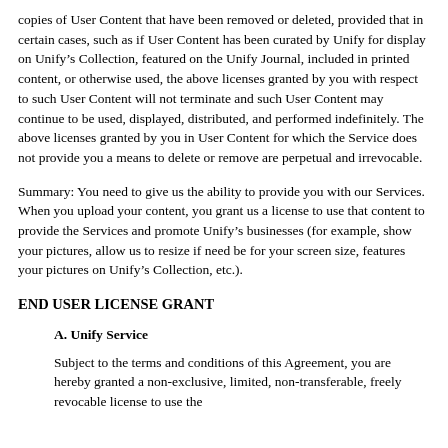copies of User Content that have been removed or deleted, provided that in certain cases, such as if User Content has been curated by Unify for display on Unify’s Collection, featured on the Unify Journal, included in printed content, or otherwise used, the above licenses granted by you with respect to such User Content will not terminate and such User Content may continue to be used, displayed, distributed, and performed indefinitely. The above licenses granted by you in User Content for which the Service does not provide you a means to delete or remove are perpetual and irrevocable.
Summary: You need to give us the ability to provide you with our Services. When you upload your content, you grant us a license to use that content to provide the Services and promote Unify’s businesses (for example, show your pictures, allow us to resize if need be for your screen size, features your pictures on Unify’s Collection, etc.).
END USER LICENSE GRANT
A. Unify Service
Subject to the terms and conditions of this Agreement, you are hereby granted a non-exclusive, limited, non-transferable, freely revocable license to use the